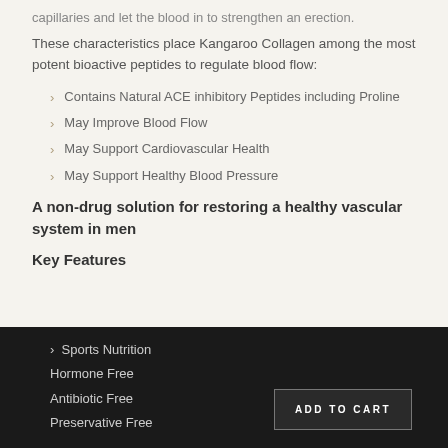capillaries and let the blood in to strengthen an erection.
These characteristics place Kangaroo Collagen among the most potent bioactive peptides to regulate blood flow:
Contains Natural ACE inhibitory Peptides including Proline
May Improve Blood Flow
May Support Cardiovascular Health
May Support Healthy Blood Pressure
A non-drug solution for restoring a healthy vascular system in men
Key Features
Sports Nutrition
Hormone Free
Antibiotic Free
Preservative Free